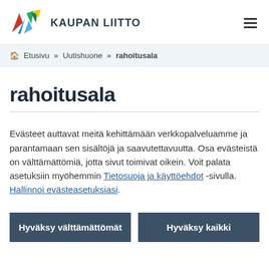[Figure (logo): Kaupan Liitto logo with colorful leaf/flag shapes and bold text 'KAUPAN LIITTO']
Etusivu » Uutishuone » rahoitusala
rahoitusala
Evästeet auttavat meitä kehittämään verkkopalveluamme ja parantamaan sen sisältöjä ja saavutettavuutta. Osa evästeistä on välttämättömiä, jotta sivut toimivat oikein. Voit palata asetuksiin myöhemmin Tietosuoja ja käyttöehdot -sivulla. Hallinnoi evästeasetuksiasi.
Hyväksy välttämättömät
Hyväksy kaikki